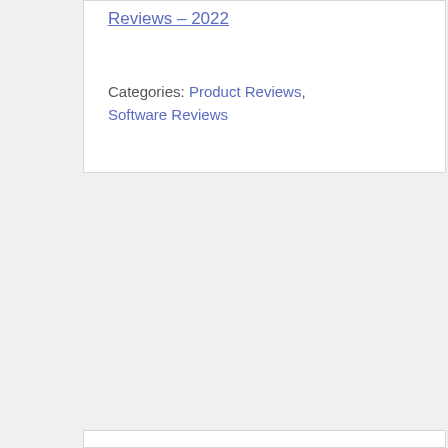Reviews – 2022
Categories: Product Reviews, Software Reviews